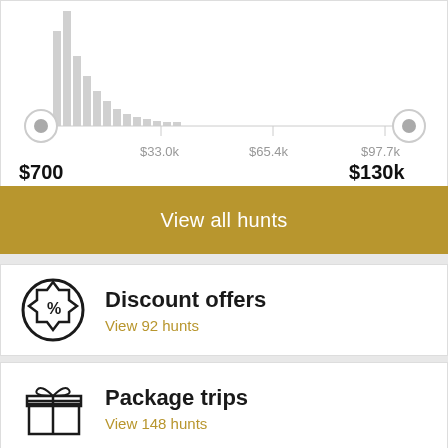[Figure (histogram): Price range histogram with two circular range slider handles at $700 (left) and $130k (right). Bars are clustered at the low end. Axis labels: $33.0k, $65.4k, $97.7k. Range labels: $700 (left), $130k (right).]
View all hunts
Discount offers
View 92 hunts
Package trips
View 148 hunts